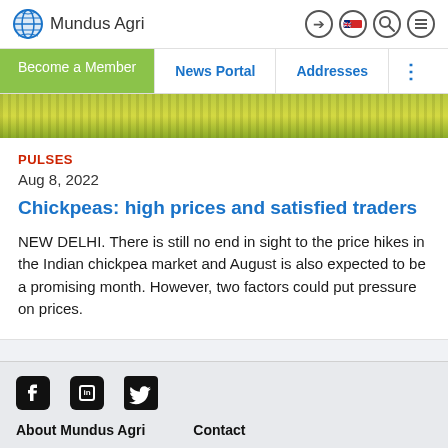Mundus Agri
Become a Member | News Portal | Addresses
[Figure (photo): Green crop field hero image banner]
PULSES
Aug 8, 2022
Chickpeas: high prices and satisfied traders
NEW DELHI. There is still no end in sight to the price hikes in the Indian chickpea market and August is also expected to be a promising month. However, two factors could put pressure on prices.
About Mundus Agri | Contact